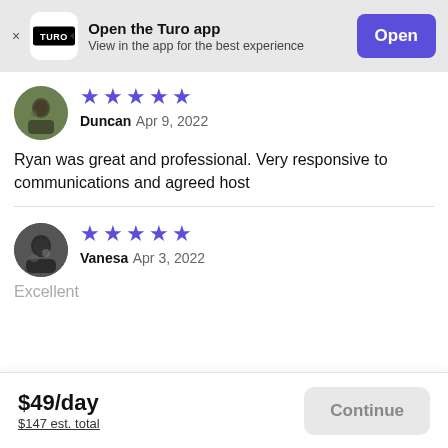[Figure (screenshot): Turo app banner with logo, 'Open the Turo app', 'View in the app for the best experience', and blue 'Open' button]
[Figure (photo): Circular avatar photo of reviewer Duncan]
★★★★★
Duncan  Apr 9, 2022
Ryan was great and professional. Very responsive to communications and agreed host
[Figure (photo): Circular avatar photo of reviewer Vanesa]
★★★★★
Vanesa  Apr 3, 2022
Excellent
$49/day
$147 est. total